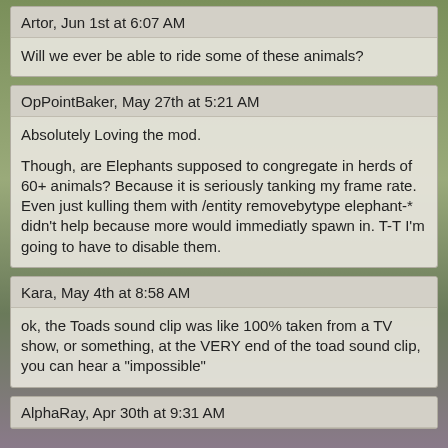Artor, Jun 1st at 6:07 AM
Will we ever be able to ride some of these animals?
OpPointBaker, May 27th at 5:21 AM
Absolutely Loving the mod.

Though, are Elephants supposed to congregate in herds of 60+ animals? Because it is seriously tanking my frame rate. Even just kulling them with /entity removebytype elephant-* didn't help because more would immediatly spawn in. T-T I'm going to have to disable them.
Kara, May 4th at 8:58 AM
ok, the Toads sound clip was like 100% taken from a TV show, or something, at the VERY end of the toad sound clip, you can hear a "impossible"
AlphaRay, Apr 30th at 9:31 AM